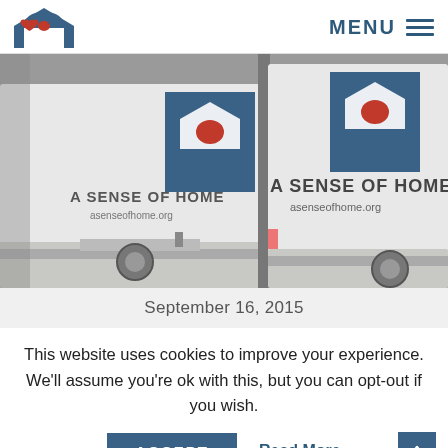MENU
[Figure (photo): Two white delivery trucks branded with 'A SENSE OF HOME' and 'asenseofhome.org' with the organization's logo (house with hands and heart) parked inside a warehouse/loading dock.]
September 16, 2015
This website uses cookies to improve your experience. We'll assume you're ok with this, but you can opt-out if you wish.
ACCEPT | Read More